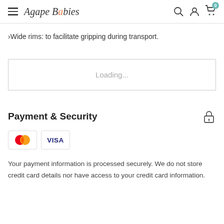Agape Babies
›Wide rims: to facilitate gripping during transport.
Loading...
Payment & Security
[Figure (logo): Mastercard and Visa payment logos]
Your payment information is processed securely. We do not store credit card details nor have access to your credit card information.